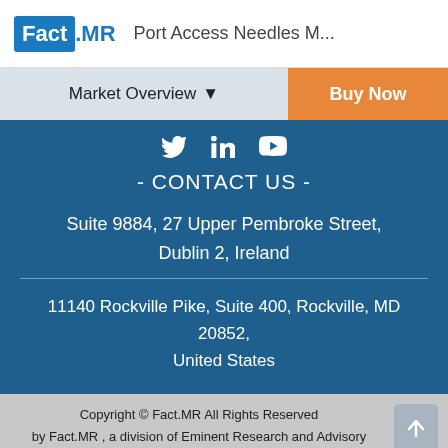Fact.MR | Port Access Needles M...
Market Overview ▼
Buy Now
- CONTACT US -
Suite 9884, 27 Upper Pembroke Street, Dublin 2, Ireland
11140 Rockville Pike, Suite 400, Rockville, MD 20852, United States
Copyright © Fact.MR All Rights Reserved by Fact.MR , a division of Eminent Research and Advisory Services
Request Free ToC